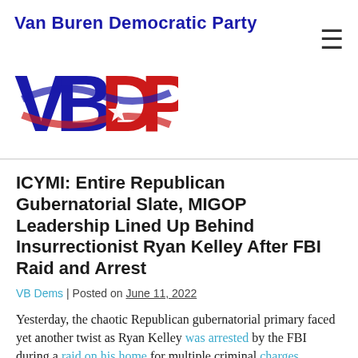[Figure (logo): Van Buren Democratic Party logo with 'Van Buren Democratic Party' text above and stylized 'VBDP' letters in blue and red with a star, and a wave/swoosh design]
ICYMI: Entire Republican Gubernatorial Slate, MIGOP Leadership Lined Up Behind Insurrectionist Ryan Kelley After FBI Raid and Arrest
VB Dems | Posted on June 11, 2022
Yesterday, the chaotic Republican gubernatorial primary faced yet another twist as Ryan Kelley was arrested by the FBI during a raid on his home for multiple criminal charges stemming from his participation in the violent insurrection that took place on the grounds of the U.S. Capitol on January